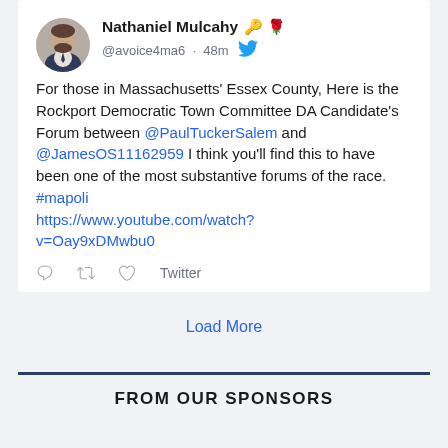Nathaniel Mulcahy 🔑 🌹 @avoice4ma6 · 48m
For those in Massachusetts' Essex County, Here is the Rockport Democratic Town Committee DA Candidate's Forum between @PaulTuckerSalem and @JamesOS11162959 I think you'll find this to have been one of the most substantive forums of the race.
#mapoli
https://www.youtube.com/watch?v=Oay9xDMwbu0
Twitter
Load More
FROM OUR SPONSORS